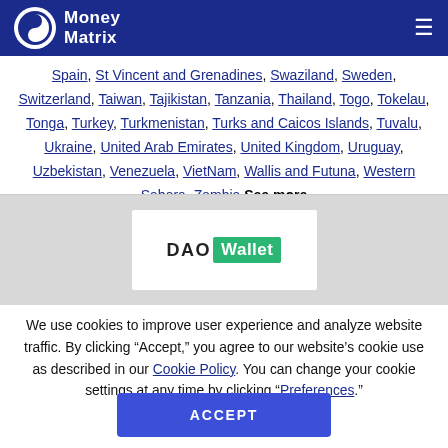Money Matrix
Spain, St Vincent and Grenadines, Swaziland, Sweden, Switzerland, Taiwan, Tajikistan, Tanzania, Thailand, Togo, Tokelau, Tonga, Turkey, Turkmenistan, Turks and Caicos Islands, Tuvalu, Ukraine, United Arab Emirates, United Kingdom, Uruguay, Uzbekistan, Venezuela, VietNam, Wallis and Futuna, Western Sahara, Zambia See more
[Figure (logo): DAO Wallet logo — dark text 'DAO' with a green badge reading 'Wallet']
We use cookies to improve user experience and analyze website traffic. By clicking “Accept,” you agree to our website’s cookie use as described in our Cookie Policy. You can change your cookie settings at any time by clicking “Preferences.”
ACCEPT